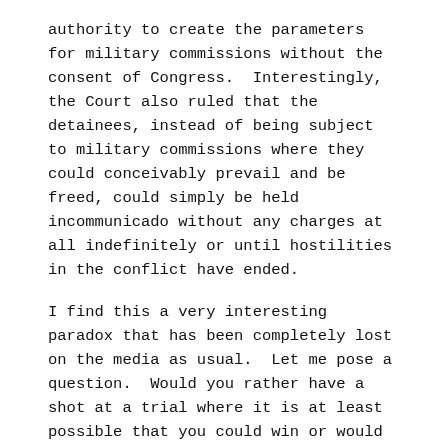authority to create the parameters for military commissions without the consent of Congress.  Interestingly, the Court also ruled that the detainees, instead of being subject to military commissions where they could conceivably prevail and be freed, could simply be held incommunicado without any charges at all indefinitely or until hostilities in the conflict have ended.
I find this a very interesting paradox that has been completely lost on the media as usual.  Let me pose a question.  Would you rather have a shot at a trial where it is at least possible that you could win or would it be better to simply rot in prison indefinitely without any chance of